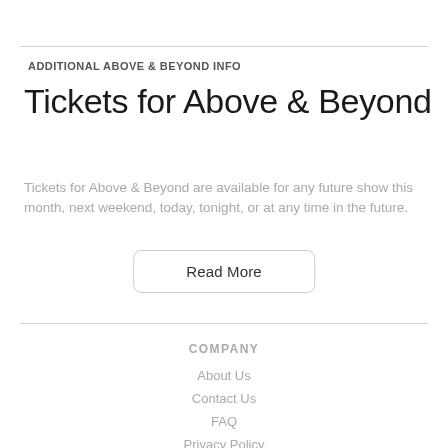ADDITIONAL ABOVE & BEYOND INFO
Tickets for Above & Beyond
Tickets for Above & Beyond are available for any future show this month, next weekend, today, tonight, or at any time in the future.
Read More
COMPANY
About Us
Contact Us
FAQ
Privacy Policy
Terms & Conditions
Other Events